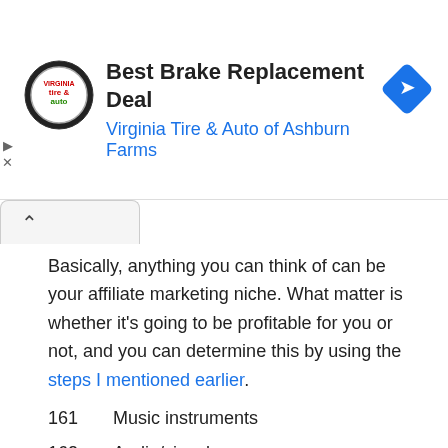[Figure (infographic): Ad banner for Best Brake Replacement Deal by Virginia Tire & Auto of Ashburn Farms, with logo and navigation icon]
Basically, anything you can think of can be your affiliate marketing niche. What matter is whether it's going to be profitable for you or not, and you can determine this by using the steps I mentioned earlier.
161   Music instruments
162   Audio/visual
163   Photography/cameras
164   Videography/video equipment
165   Computers/gadgets